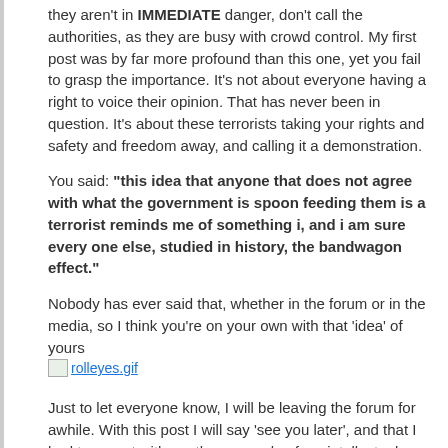they aren't in IMMEDIATE danger, don't call the authorities, as they are busy with crowd control. My first post was by far more profound than this one, yet you fail to grasp the importance. It's not about everyone having a right to voice their opinion. That has never been in question. It's about these terrorists taking your rights and safety and freedom away, and calling it a demonstration.
You said: "this idea that anyone that does not agree with what the government is spoon feeding them is a terrorist reminds me of something i, and i am sure every one else, studied in history, the bandwagon effect."
Nobody has ever said that, whether in the forum or in the media, so I think you're on your own with that 'idea' of yours [rolleyes.gif]
Just to let everyone know, I will be leaving the forum for awhile. With this post I will say 'see you later', and that I had to go out with another example of my intellectual superiority over those that think they know what they are talking about.
Take care everyone [original.gif]